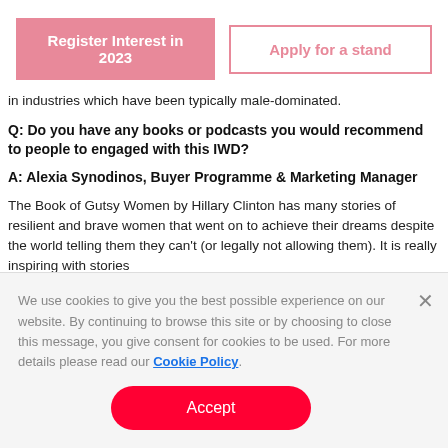[Figure (other): Two buttons: 'Register Interest in 2023' (filled pink) and 'Apply for a stand' (outlined pink)]
in industries which have been typically male-dominated.
Q: Do you have any books or podcasts you would recommend to people to engaged with this IWD?
A: Alexia Synodinos, Buyer Programme & Marketing Manager
The Book of Gutsy Women by Hillary Clinton has many stories of resilient and brave women that went on to achieve their dreams despite the world telling them they can't (or legally not allowing them). It is really inspiring with stories
We use cookies to give you the best possible experience on our website. By continuing to browse this site or by choosing to close this message, you give consent for cookies to be used. For more details please read our Cookie Policy.
Accept